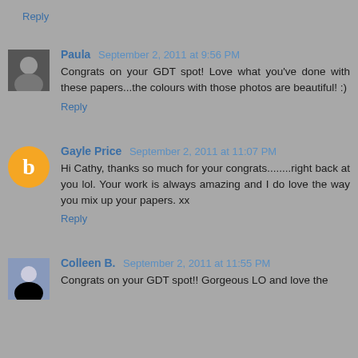Reply
Paula  September 2, 2011 at 9:56 PM
Congrats on your GDT spot! Love what you've done with these papers...the colours with those photos are beautiful! :)
Reply
Gayle Price  September 2, 2011 at 11:07 PM
Hi Cathy, thanks so much for your congrats........right back at you lol. Your work is always amazing and I do love the way you mix up your papers. xx
Reply
Colleen B.  September 2, 2011 at 11:55 PM
Congrats on your GDT spot!! Gorgeous LO and love the ...